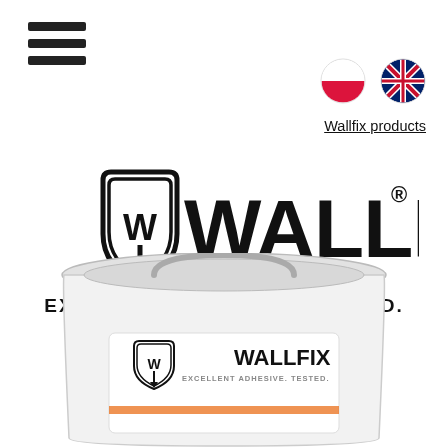[Figure (logo): Hamburger menu icon (three horizontal lines)]
[Figure (other): Polish flag circle and UK flag circle for language selection]
Wallfix products
[Figure (logo): WALLFIX logo with shield containing W and paintbrush, text EXCELLENT ADHESIVE. TESTED.]
[Figure (photo): White plastic bucket/tub of Wallfix adhesive product with logo and label on front]